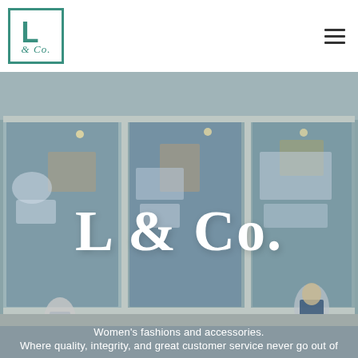[Figure (logo): L & Co. logo: teal bordered square containing a bold teal L with italic script '& Co.' below]
[Figure (photo): Storefront window display of L & Co. women's fashion boutique. Large white script 'L & Co.' text overlaid on glass windows showing clothing displays and mannequins. Text at bottom reads: Women's fashions and accessories. Where quality, integrity, and great customer service never go out of]
Women's fashions and accessories.
Where quality, integrity, and great customer service never go out of